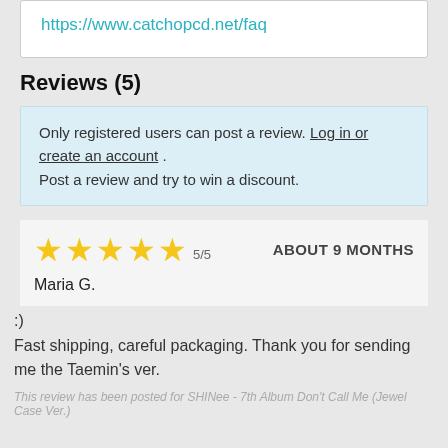https://www.catchopcd.net/faq
Reviews (5)
Only registered users can post a review. Log in or create an account . Post a review and try to win a discount.
5/5  ABOUT 9 MONTHS
Maria G.
:)
Fast shipping, careful packaging. Thank you for sending me the Taemin's ver.
This review has been posted for SHINee - 7th Album Don't Call Me (Jewel Case Ver.)